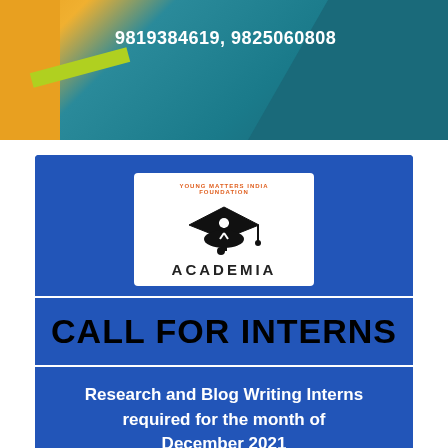[Figure (illustration): Top banner with teal/blue gradient background, orange-yellow accent strip on left, diagonal green stripe, phone numbers in white bold text: 9819384619, 9825060808]
9819384619, 9825060808
[Figure (logo): Academia logo: white box with graduation cap icon and figure, text ACADEMIA below]
CALL FOR INTERNS
Research and Blog Writing Interns required for the month of December 2021
Send your CV & a Writing Sample to internshipcellvimf@gmail.com